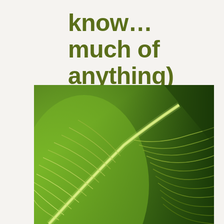know…much of anything)
[Figure (photo): Close-up macro photograph of a large tropical leaf showing detailed vein patterns. The leaf has a central midrib with parallel veins radiating outward, creating a striped texture. The colors range from bright lime green to deep forest green with lighter white/silver vein lines.]